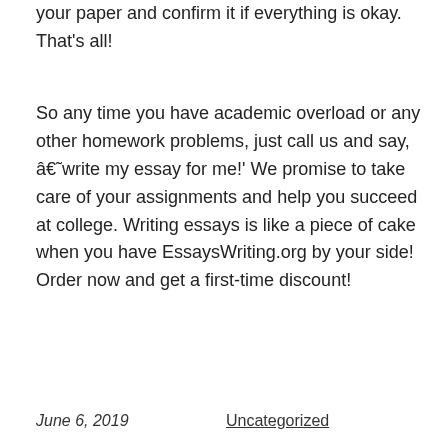your paper and confirm it if everything is okay. That's all!
So any time you have academic overload or any other homework problems, just call us and say, â€˜write my essay for me!' We promise to take care of your assignments and help you succeed at college. Writing essays is like a piece of cake when you have EssaysWriting.org by your side! Order now and get a first-time discount!
June 6, 2019    Uncategorized